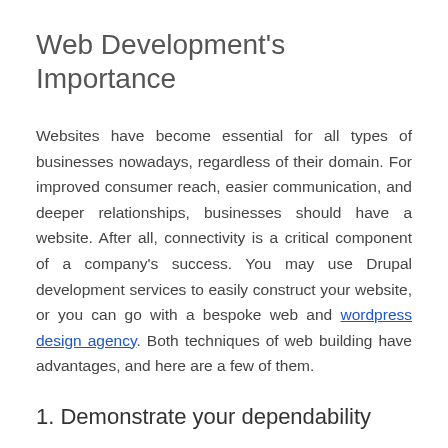Web Development's Importance
Websites have become essential for all types of businesses nowadays, regardless of their domain. For improved consumer reach, easier communication, and deeper relationships, businesses should have a website. After all, connectivity is a critical component of a company's success. You may use Drupal development services to easily construct your website, or you can go with a bespoke web and wordpress design agency. Both techniques of web building have advantages, and here are a few of them.
1. Demonstrate your dependability